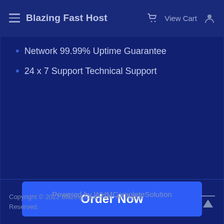Blazing Fast Host  View Cart
Network 99.99% Uptime Guarantee
24 x 7 Support Technical Support
Order Now
Powered by WHMCompleteSolution
Copyright © 2022 Blazing Fast Host. All Rights Reserved.